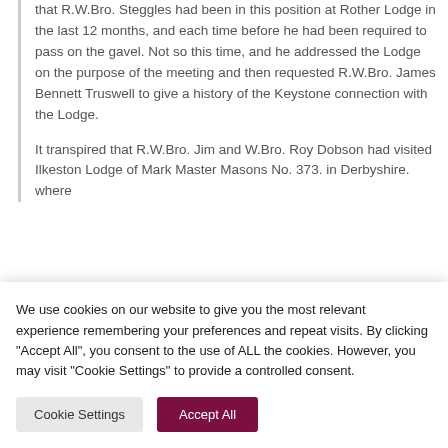that R.W.Bro. Steggles had been in this position at Rother Lodge in the last 12 months, and each time before he had been required to pass on the gavel. Not so this time, and he addressed the Lodge on the purpose of the meeting and then requested R.W.Bro. James Bennett Truswell to give a history of the Keystone connection with the Lodge.
It transpired that R.W.Bro. Jim and W.Bro. Roy Dobson had visited Ilkeston Lodge of Mark Master Masons No. 373. in Derbyshire. where
We use cookies on our website to give you the most relevant experience remembering your preferences and repeat visits. By clicking "Accept All", you consent to the use of ALL the cookies. However, you may visit "Cookie Settings" to provide a controlled consent.